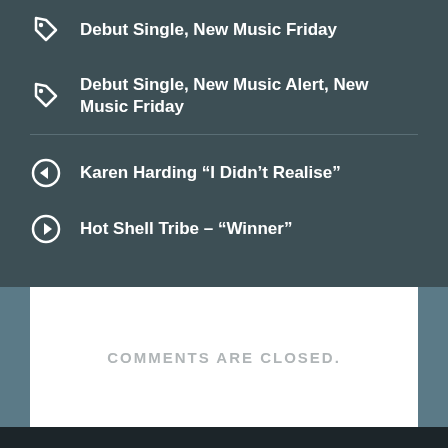Debut Single, New Music Friday
Debut Single, New Music Alert, New Music Friday
Karen Harding “I Didn’t Realise”
Hot Shell Tribe – “Winner”
COMMENTS ARE CLOSED.
POWERED BY WORDPRESS.COM.
UP ↑